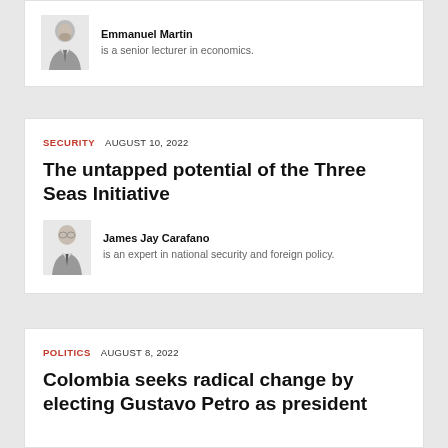Emmanuel Martin is a senior lecturer in economics.
SECURITY   AUGUST 10, 2022
The untapped potential of the Three Seas Initiative
James Jay Carafano is an expert in national security and foreign policy.
POLITICS   AUGUST 8, 2022
Colombia seeks radical change by electing Gustavo Petro as president